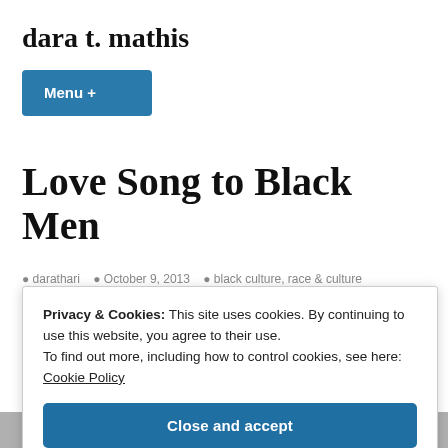dara t. mathis
Menu +
Love Song to Black Men
darathari   October 9, 2013   black culture, race & culture
Privacy & Cookies: This site uses cookies. By continuing to use this website, you agree to their use.
To find out more, including how to control cookies, see here: Cookie Policy
Close and accept
[Figure (photo): Black and white photo strip at the bottom of the page, partially visible]